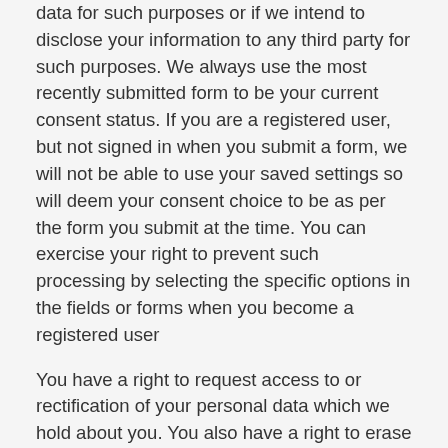data for such purposes or if we intend to disclose your information to any third party for such purposes. We always use the most recently submitted form to be your current consent status. If you are a registered user, but not signed in when you submit a form, we will not be able to use your saved settings so will deem your consent choice to be as per the form you submit at the time. You can exercise your right to prevent such processing by selecting the specific options in the fields or forms when you become a registered user
You have a right to request access to or rectification of your personal data which we hold about you. You also have a right to erase your personal data, to restrict the processing of your personal data and the right to receive your personal data that you have provided to us, the right to object to our processing of your personal data and a right to request that we transmit your personal data to another data controller.
Where we process your personal data because you have given